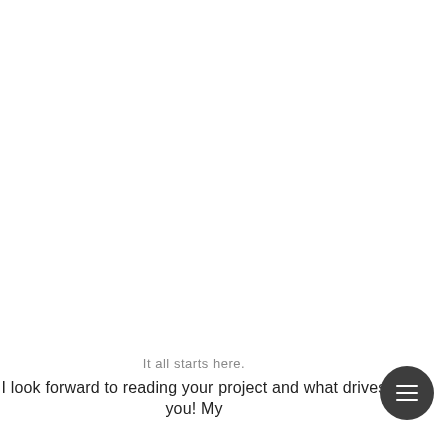It all starts here.
I look forward to reading your project and what drives you! My